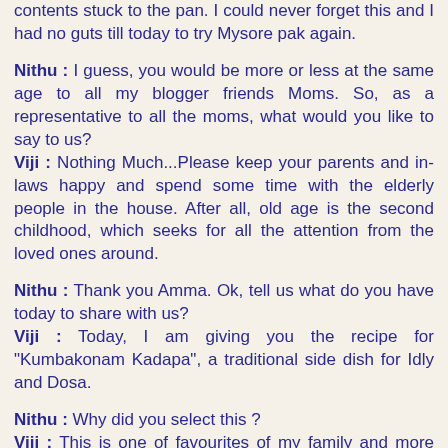contents stuck to the pan. I could never forget this and I had no guts till today to try Mysore pak again.
Nithu : I guess, you would be more or less at the same age to all my blogger friends Moms. So, as a representative to all the moms, what would you like to say to us?
Viji : Nothing Much...Please keep your parents and in-laws happy and spend some time with the elderly people in the house. After all, old age is the second childhood, which seeks for all the attention from the loved ones around.
Nithu : Thank you Amma. Ok, tell us what do you have today to share with us?
Viji : Today, I am giving you the recipe for "Kumbakonam Kadapa", a traditional side dish for Idly and Dosa.
Nithu : Why did you select this ?
Viji : This is one of favourites of my family and more over, this is the famous dish of Kumbakonam, where I was born and brought up.
Ingredients :